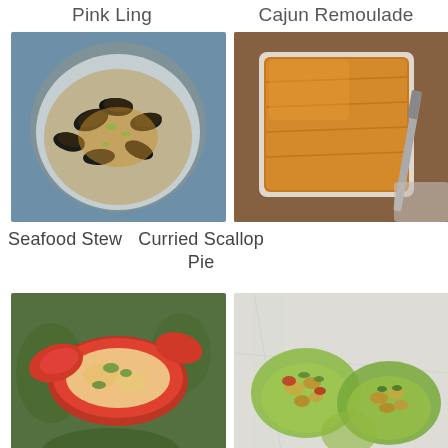Pink Ling
Cajun Remoulade
[Figure (photo): A white bowl filled with seafood stew containing mussels, clams, fish, potatoes, and broth with fennel and herbs, served on a blue background.]
[Figure (photo): A golden-brown puff pastry pie in a white baking dish, with a knife and spoon on a wooden table.]
Seafood Stew
Curried Scallop Pie
[Figure (photo): A whole cooked lobster split open and filled with creamy lobster salad, garnished with parsley on a plate.]
[Figure (photo): Butter lettuce cups filled with cooked clams or mussels, vegetables, and herbs on a marble surface.]